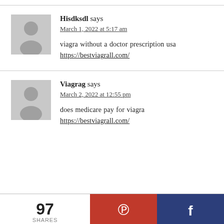Hisdksdl says
March 1, 2022 at 5:17 am
viagra without a doctor prescription usa https://bestviagrall.com/
Viagrag says
March 2, 2022 at 12:55 pm
does medicare pay for viagra https://bestviagrall.com/
97 SHARES